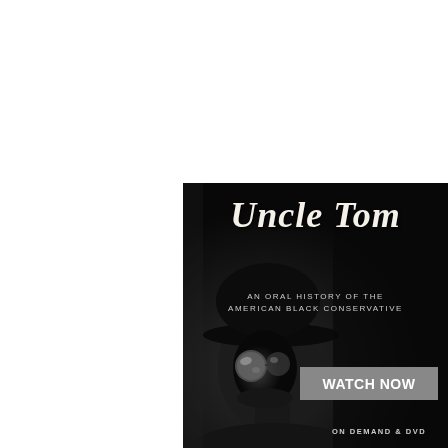[Figure (illustration): Movie/documentary advertisement for 'Uncle Tom: An Oral History of the American Black Conservative'. Black background with a black-and-white photo of a man wearing a hat and reflective glasses, looking upward. White stylized text for the title, gray subtitle text, a gray 'WATCH NOW' button, and 'ON DEMAND & DVD' text at the bottom.]